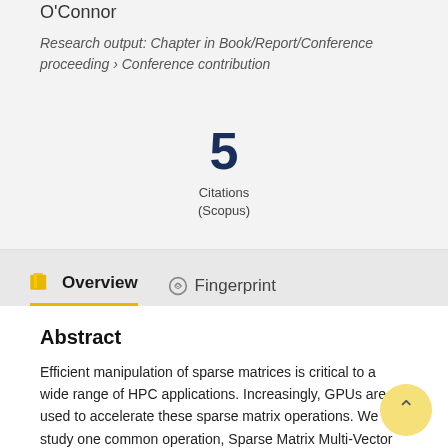O'Connor
Research output: Chapter in Book/Report/Conference proceeding › Conference contribution
5
Citations
(Scopus)
Overview
Fingerprint
Abstract
Efficient manipulation of sparse matrices is critical to a wide range of HPC applications. Increasingly, GPUs are used to accelerate these sparse matrix operations. We study one common operation, Sparse Matrix Multi-Vector Multiplication